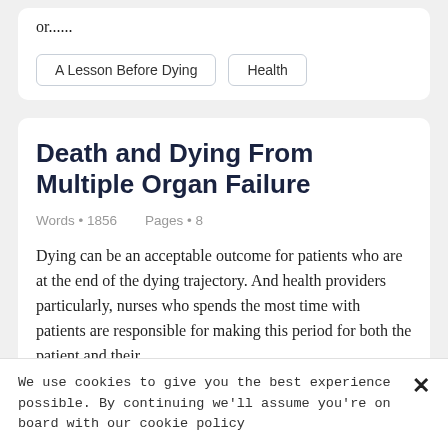or......
A Lesson Before Dying
Health
Death and Dying From Multiple Organ Failure
Words • 1856    Pages • 8
Dying can be an acceptable outcome for patients who are at the end of the dying trajectory. And health providers particularly, nurses who spends the most time with patients are responsible for making this period for both the patient and their
We use cookies to give you the best experience possible. By continuing we'll assume you're on board with our cookie policy